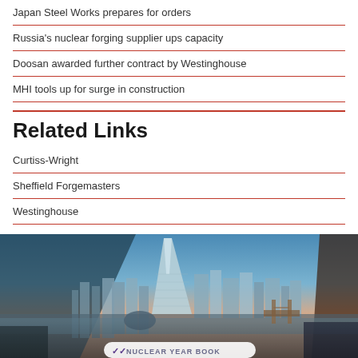Japan Steel Works prepares for orders
Russia's nuclear forging supplier ups capacity
Doosan awarded further contract by Westinghouse
MHI tools up for surge in construction
Related Links
Curtiss-Wright
Sheffield Forgemasters
Westinghouse
[Figure (photo): Aerial panoramic photograph of London skyline at sunset featuring The Shard skyscraper and Tower Bridge, with a partially visible logo/branding overlay at the bottom.]